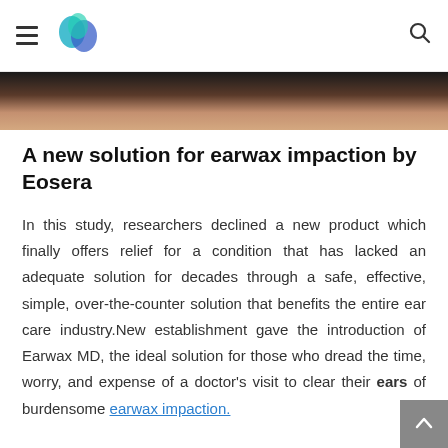Navigation bar with hamburger menu, logo, and search icon
[Figure (photo): Partial view of a person's ear/head area, close-up photo strip]
A new solution for earwax impaction by Eosera
In this study, researchers declined a new product which finally offers relief for a condition that has lacked an adequate solution for decades through a safe, effective, simple, over-the-counter solution that benefits the entire ear care industry.New establishment gave the introduction of Earwax MD, the ideal solution for those who dread the time, worry, and expense of a doctor's visit to clear their ears of burdensome earwax impaction.